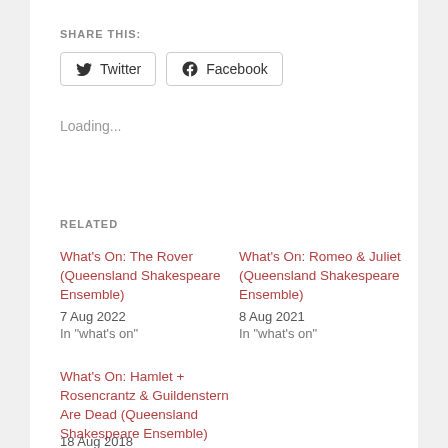SHARE THIS:
Twitter  Facebook
Loading...
RELATED
What's On: The Rover (Queensland Shakespeare Ensemble)
7 Aug 2022
In "what's on"
What's On: Romeo & Juliet (Queensland Shakespeare Ensemble)
8 Aug 2021
In "what's on"
What's On: Hamlet + Rosencrantz & Guildenstern Are Dead (Queensland Shakespeare Ensemble)
18 Aug 2018